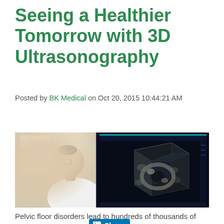Seeing a Healthier Tomorrow with 3D Ultrasonography
Posted by BK Medical on Oct 20, 2015 10:44:21 AM
[Figure (screenshot): LinkedIn Share button with blue background]
[Figure (photo): Doctor viewing a 3D ultrasound image on a large monitor screen showing a 3D rendered ultrasound cube/volume in grayscale]
Pelvic floor disorders lead to hundreds of thousands of...